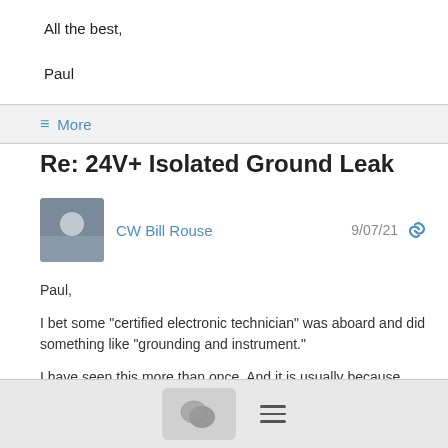All the best,

Paul
≡ More
Re: 24V+ Isolated Ground Leak
CW Bill Rouse   9/07/21
Paul,

I bet some "certified electronic technician" was aboard and did something like "grounding and instrument."

I have seen this more than once. And it is usually because someone is adding some device to the nav station.